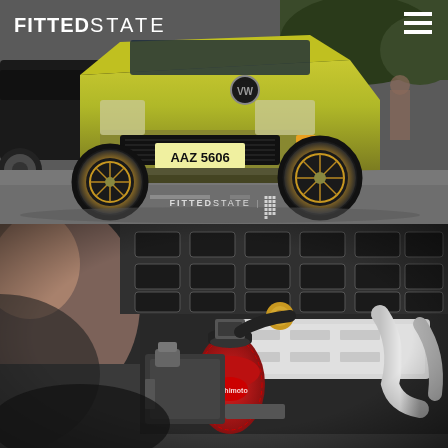[Figure (photo): Yellow/green Volkswagen Golf (Mk3) with gold BBS-style wheels and license plate AAZ 5606, parked at a car show on asphalt. A black VW is partially visible to the left. FITTEDSTATE logo and watermark overlay the image.]
[Figure (photo): Close-up engine bay shot of a car with a red Mishimoto air filter / cone filter, silver intercooler piping, and a patterned engine bay cover with rectangular cutouts. A person in white shirt visible blurred in background.]